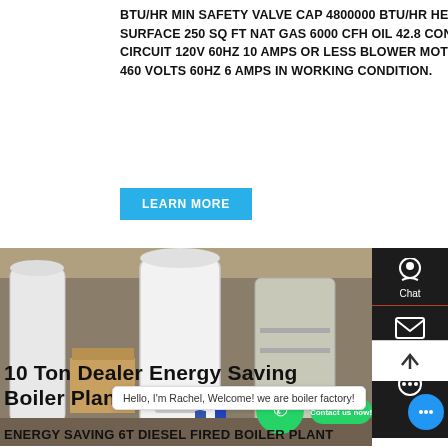BTU/HR MIN SAFETY VALVE CAP 4800000 BTU/HR HEATING SURFACE 250 SQ FT NAT GAS 6000 CFH OIL 42.8 CONTROL CIRCUIT 120V 60HZ 10 AMPS OR LESS BLOWER MOTOR 460 VOLTS 60HZ 6 AMPS IN WORKING CONDITION.
[Figure (photo): Industrial boiler units in a warehouse/factory floor with workers in blue uniforms. Large white cylindrical boiler tanks wrapped in protective material visible.]
10 Ton Dealer Energy Saving Boiler Plant Turkmenistan
ENERGY SAVING 6T DIESEL FIRED BOILER PLANT
Hello, I'm Rachel, Welcome! we are boiler factory!